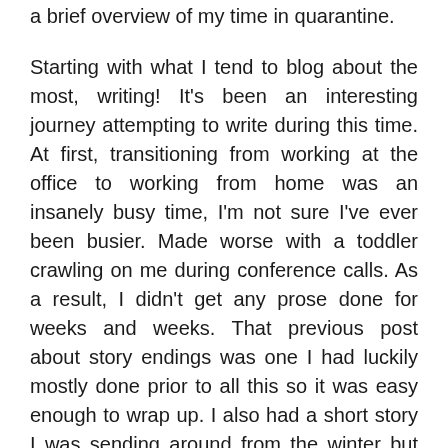a brief overview of my time in quarantine.
Starting with what I tend to blog about the most, writing! It's been an interesting journey attempting to write during this time. At first, transitioning from working at the office to working from home was an insanely busy time, I'm not sure I've ever been busier. Made worse with a toddler crawling on me during conference calls. As a result, I didn't get any prose done for weeks and weeks. That previous post about story endings was one I had luckily mostly done prior to all this so it was easy enough to wrap up. I also had a short story I was sending around from the winter but it's not finding a home and, re-reading it, it's now easy to see why!
Then, about the mid-April, it kind of just clicked! I started and finished a short story that had been floating around in my head, caught up with some